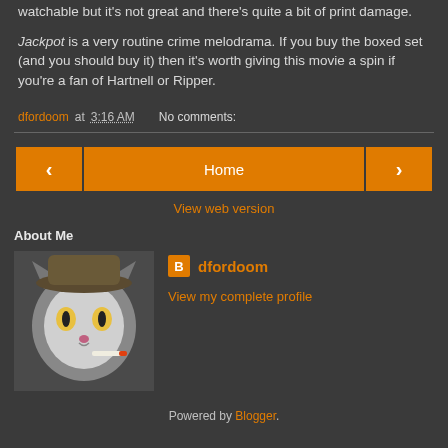watchable but it's not great and there's quite a bit of print damage.
Jackpot is a very routine crime melodrama. If you buy the boxed set (and you should buy it) then it's worth giving this movie a spin if you're a fan of Hartnell or Ripper.
dfordoom at 3:16 AM   No comments:
[Figure (other): Navigation bar with left arrow button, Home button, and right arrow button, all in orange]
View web version
About Me
[Figure (photo): Profile photo of a black and white cat wearing a hat and holding a cigarette]
dfordoom
View my complete profile
Powered by Blogger.